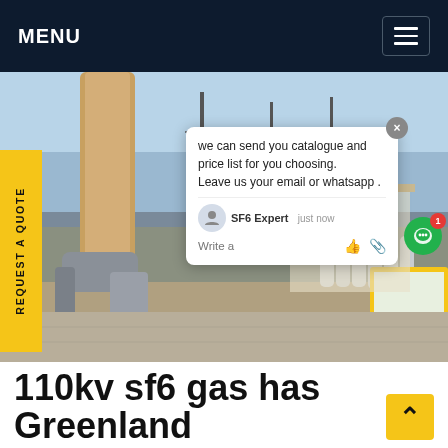MENU
[Figure (photo): Outdoor electrical substation with large industrial pipes, gas cylinders, transmission towers, and a yellow truck with license plate V2578. A chat popup overlay is visible with text: 'we can send you catalogue and price list for you choosing. Leave us your email or whatsapp .' Sender shown as 'SF6 Expert  just now'. A vertical yellow button reads 'REQUEST A QUOTE'.]
110kv sf6 gas has Greenland